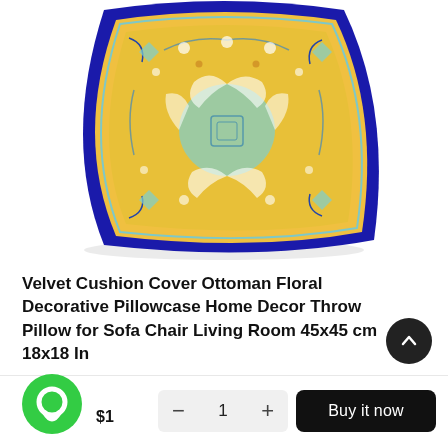[Figure (photo): Decorative velvet cushion cover with Ottoman floral pattern in blue border and yellow/teal intricate floral design in the center, shown as a plump square pillow viewed from above at a slight angle.]
Velvet Cushion Cover Ottoman Floral Decorative Pillowcase Home Decor Throw Pillow for Sofa Chair Living Room 45x45 cm 18x18 In
$19.20  $50.00